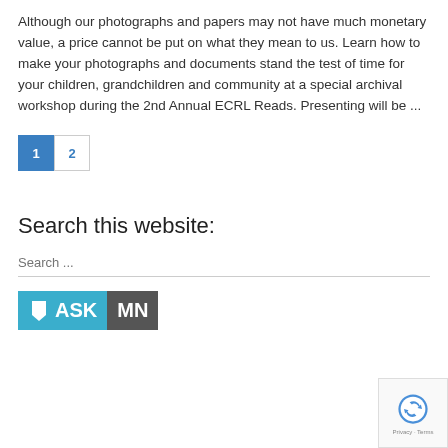Although our photographs and papers may not have much monetary value, a price cannot be put on what they mean to us. Learn how to make your photographs and documents stand the test of time for your children, grandchildren and community at a special archival workshop during the 2nd Annual ECRL Reads. Presenting will be ...
1  2
Search this website:
Search ...
[Figure (logo): ASK MN logo with teal background for ASK and grey background for MN]